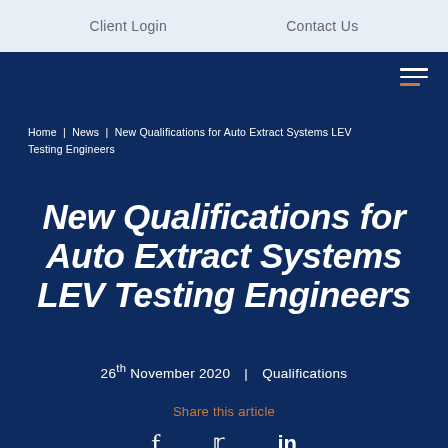Client Login   Contact Us
Home | News | New Qualifications for Auto Extract Systems LEV Testing Engineers
New Qualifications for Auto Extract Systems LEV Testing Engineers
26th November 2020  |  Qualifications
Share this article
[Figure (other): Social media share icons: Facebook (f), Twitter (bird), LinkedIn (in)]